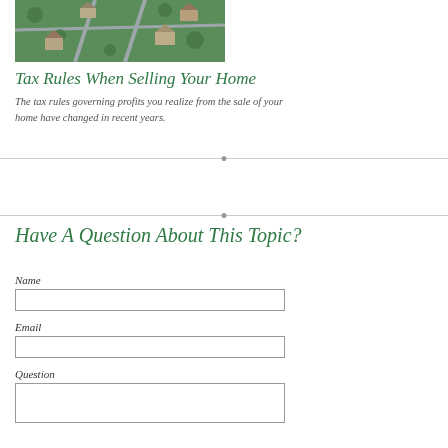[Figure (photo): Aerial view of a residential neighborhood with houses, trees, and roads]
Tax Rules When Selling Your Home
The tax rules governing profits you realize from the sale of your home have changed in recent years.
Have A Question About This Topic?
Name
Email
Question